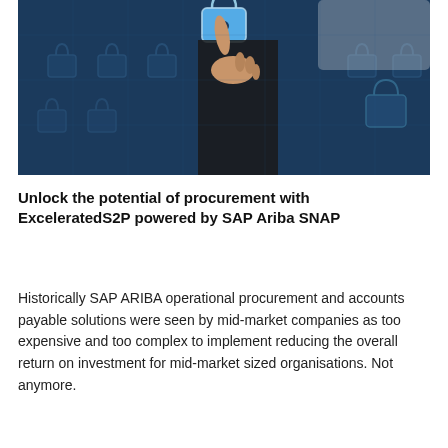[Figure (photo): A person in a dark suit pointing a finger at a glowing digital padlock icon on a dark blue background with multiple translucent padlock graphics arranged in a grid pattern.]
Unlock the potential of procurement with ExceleratedS2P powered by SAP Ariba SNAP
Historically SAP ARIBA operational procurement and accounts payable solutions were seen by mid-market companies as too expensive and too complex to implement reducing the overall return on investment for mid-market sized organisations. Not anymore.